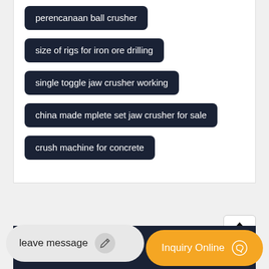perencanaan ball crusher
size of rigs for iron ore drilling
single toggle jaw crusher working
china made mplete set jaw crusher for sale
crush machine for concrete
[Figure (other): Upload button with upward arrow icon]
leave message
Inquiry Online